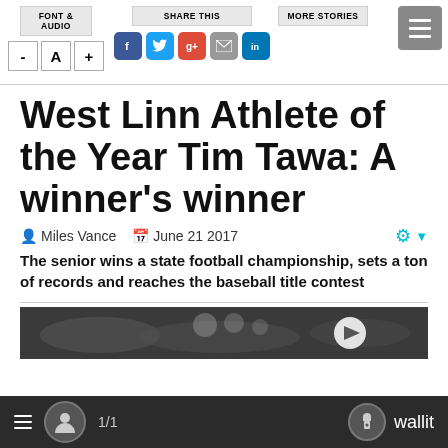FONT & AUDIO | SHARE THIS | MORE STORIES
West Linn Athlete of the Year Tim Tawa: A winner's winner
Miles Vance  June 21 2017
The senior wins a state football championship, sets a ton of records and reaches the baseball title contest
[Figure (photo): Dark photo strip at bottom of page, partially visible]
1/1  wallit